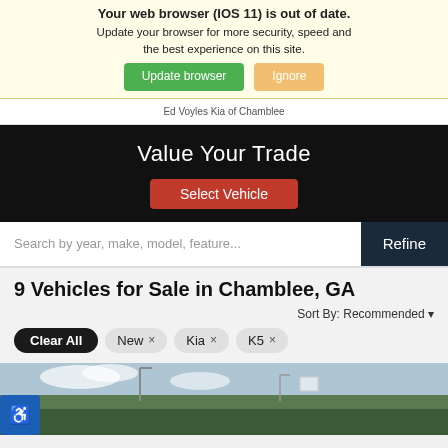Your web browser (IOS 11) is out of date. Update your browser for more security, speed and the best experience on this site.
Update browser | Ignore
Ed Voyles Kia of Chamblee
Value Your Trade
Select Vehicle
Search by year, make, model, feature...
Refine
9 Vehicles for Sale in Chamblee, GA
Sort By: Recommended
Clear All
New ×
Kia ×
K5 ×
[Figure (photo): Outdoor photo showing a car dealership lot with trees and sky in background]